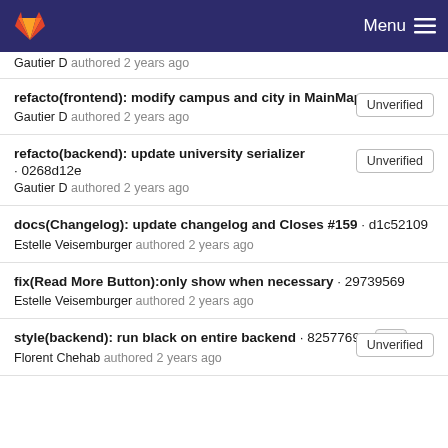Menu
Gautier D authored 2 years ago
refacto(frontend): modify campus and city in MainMap · a3ad5631
Gautier D authored 2 years ago
refacto(backend): update university serializer · 0268d12e
Gautier D authored 2 years ago
docs(Changelog): update changelog and Closes #159 · d1c52109
Estelle Veisemburger authored 2 years ago
fix(Read More Button):only show when necessary · 29739569
Estelle Veisemburger authored 2 years ago
style(backend): run black on entire backend · 82577697
Florent Chehab authored 2 years ago